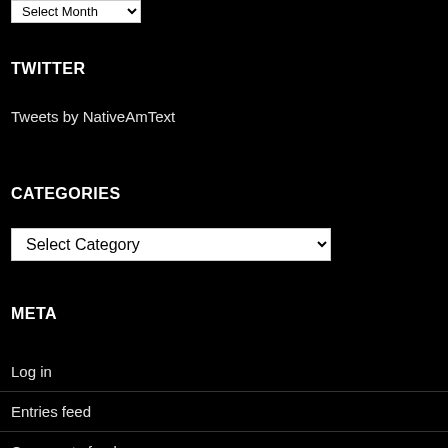[Figure (screenshot): Select Month dropdown widget at top of page]
TWITTER
Tweets by NativeAmText
CATEGORIES
[Figure (screenshot): Select Category dropdown widget]
META
Log in
Entries feed
Comments feed